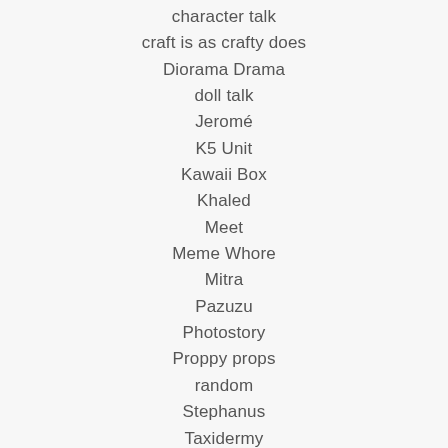character talk
craft is as crafty does
Diorama Drama
doll talk
Jeromé
K5 Unit
Kawaii Box
Khaled
Meet
Meme Whore
Mitra
Pazuzu
Photostory
Proppy props
random
Stephanus
Taxidermy
Theodore
Thyra
travel diary
written words